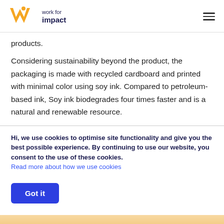work for impact
products.
Considering sustainability beyond the product, the packaging is made with recycled cardboard and printed with minimal color using soy ink. Compared to petroleum-based ink, Soy ink biodegrades four times faster and is a natural and renewable resource.
Hi, we use cookies to optimise site functionality and give you the best possible experience. By continuing to use our website, you consent to the use of these cookies. Read more about how we use cookies
Got it